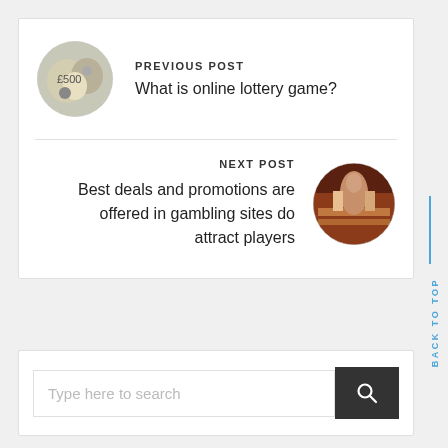PREVIOUS POST
What is online lottery game?
[Figure (photo): Circular avatar image of lottery tickets/money]
NEXT POST
Best deals and promotions are offered in gambling sites do attract players
[Figure (photo): Circular avatar image of a casino table]
BACK TO TOP
Type here to search